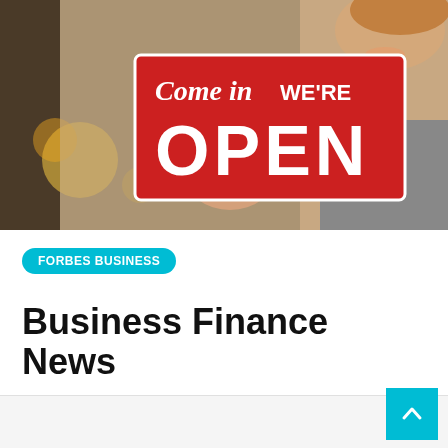[Figure (photo): A woman holding a red 'Come in WE'RE OPEN' sign, smiling, wearing a necklace. Background is blurred warm tones.]
FORBES BUSINESS
Business Finance News
By Tisha Tanious   3 months ago